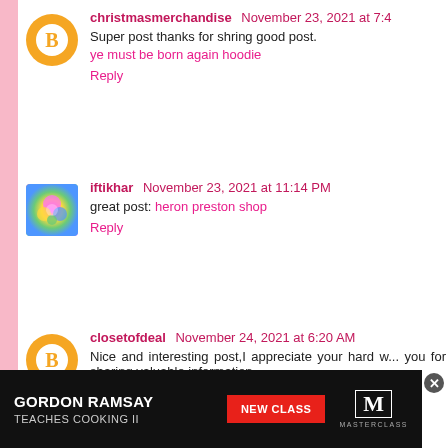christmasmerchandise November 23, 2021 at 7:4... Super post thanks for shring good post. ye must be born again hoodie Reply
iftikhar November 23, 2021 at 11:14 PM great post: heron preston shop Reply
closetofdeal November 24, 2021 at 6:20 AM Nice and interesting post,I appreciate your hard w... you for sharing valuable information. travisscottshop.net Reply
[Figure (screenshot): Advertisement banner: GORDON RAMSAY TEACHES COOKING II with NEW CLASS button and MasterClass logo]